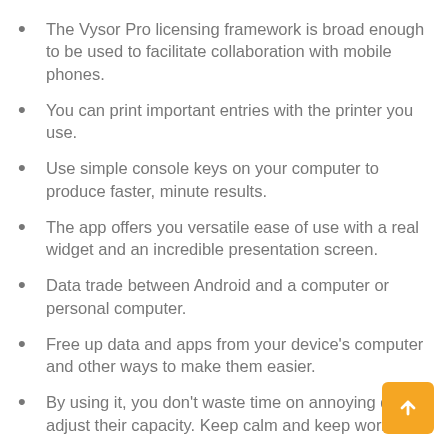The Vysor Pro licensing framework is broad enough to be used to facilitate collaboration with mobile phones.
You can print important entries with the printer you use.
Use simple console keys on your computer to produce faster, minute results.
The app offers you versatile ease of use with a real widget and an incredible presentation screen.
Data trade between Android and a computer or personal computer.
Free up data and apps from your device's computer and other ways to make them easier.
By using it, you don't waste time on annoying d that adjust their capacity. Keep calm and keep working